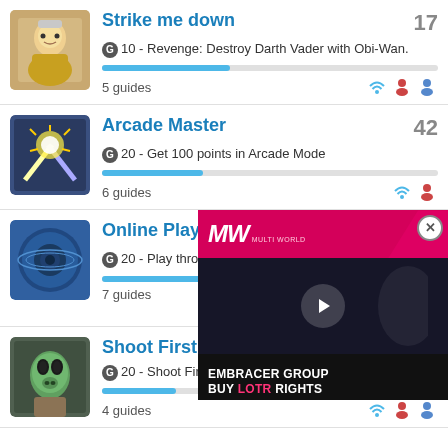[Figure (screenshot): Achievement icon: LEGO Obi-Wan character]
Strike me down
G 10 - Revenge: Destroy Darth Vader with Obi-Wan.
5 guides
[Figure (screenshot): Achievement icon: lightsaber clash explosion]
Arcade Master
G 20 - Get 100 points in Arcade Mode
6 guides
[Figure (screenshot): Achievement icon: circular target/Death Star]
Online Player
G 20 - Play through an
7 guides
[Figure (screenshot): Achievement icon: Greedo character]
Shoot First
G 20 - Shoot First
4 guides
[Figure (screenshot): Advertisement overlay: MW logo with EMBRACER GROUP BUY LOTR RIGHTS video ad]
32
17
42